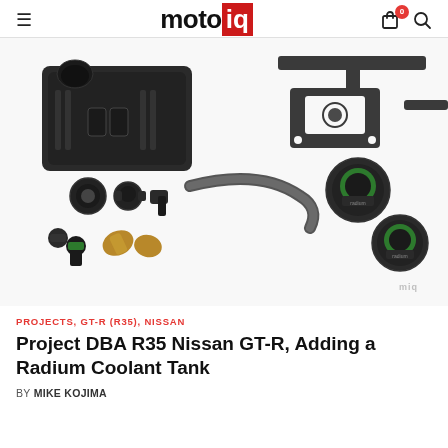motoiq
[Figure (photo): Product photo showing a Radium coolant tank kit for Nissan GT-R R35, including a black rectangular coolant reservoir, metal mounting brackets, various hose fittings and connectors, a rubber hose, and two green Radium pressure caps, all laid out on a white background.]
PROJECTS, GT-R (R35), NISSAN
Project DBA R35 Nissan GT-R, Adding a Radium Coolant Tank
BY MIKE KOJIMA